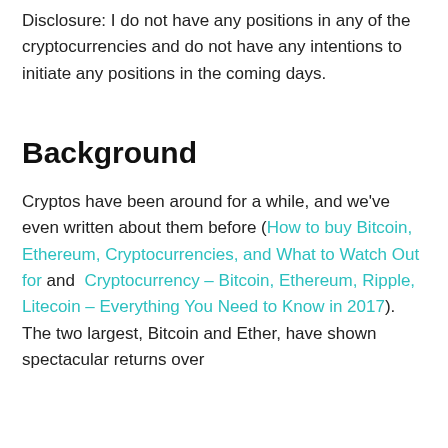Disclosure: I do not have any positions in any of the cryptocurrencies and do not have any intentions to initiate any positions in the coming days.
Background
Cryptos have been around for a while, and we've even written about them before (How to buy Bitcoin, Ethereum, Cryptocurrencies, and What to Watch Out for and  Cryptocurrency – Bitcoin, Ethereum, Ripple, Litecoin – Everything You Need to Know in 2017). The two largest, Bitcoin and Ether, have shown spectacular returns over